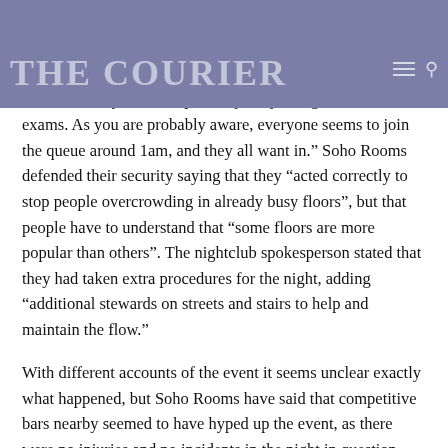THE COURIER
Soho Rooms were reached out to for a comment. They said that they “had to stop people moving floor to floor momentarily in order to control the numbers in each floor and last Friday was exceptionally busy being the end of exams. As you are probably aware, everyone seems to join the queue around 1am, and they all want in.” Soho Rooms defended their security saying that they “acted correctly to stop people overcrowding in already busy floors”, but that people have to understand that “some floors are more popular than others”. The nightclub spokesperson stated that they had taken extra procedures for the night, adding “additional stewards on streets and stairs to help and maintain the flow.”
With different accounts of the event it seems unclear exactly what happened, but Soho Rooms have said that competitive bars nearby seemed to have hyped up the event, as there were no injuries and no incidents in the night in question.
(Visited 311 times, 1 visits today)